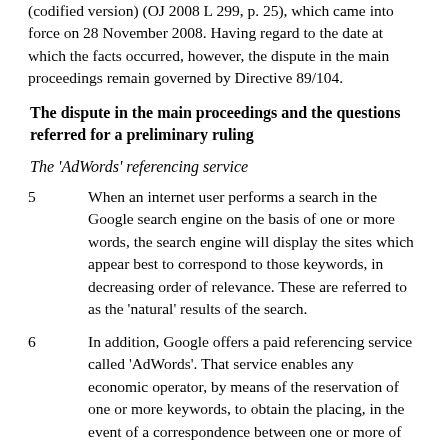(codified version) (OJ 2008 L 299, p. 25), which came into force on 28 November 2008. Having regard to the date at which the facts occurred, however, the dispute in the main proceedings remain governed by Directive 89/104.
The dispute in the main proceedings and the questions referred for a preliminary ruling
The 'AdWords' referencing service
5       When an internet user performs a search in the Google search engine on the basis of one or more words, the search engine will display the sites which appear best to correspond to those keywords, in decreasing order of relevance. These are referred to as the 'natural' results of the search.
6       In addition, Google offers a paid referencing service called 'AdWords'. That service enables any economic operator, by means of the reservation of one or more keywords, to obtain the placing, in the event of a correspondence between one or more of those words and that/those entered as a request in the search engine by an internet user, of an